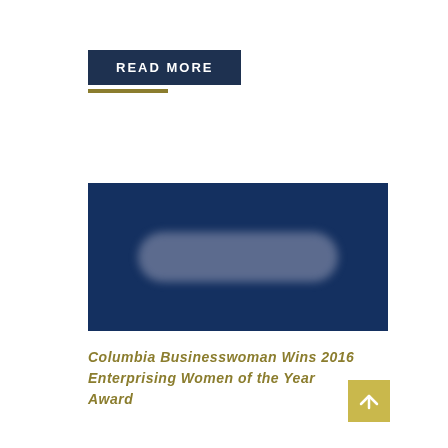READ MORE
[Figure (logo): Dark blue background with a blurred logo/brand image in the center]
Columbia Businesswoman Wins 2016 Enterprising Women of the Year Award